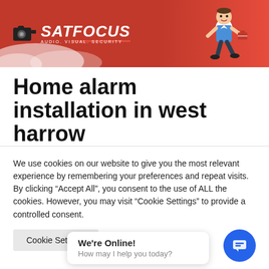[Figure (logo): SatFocus company banner with red background, company logo on the left (camera icon + SATFOCUS text + tagline AUDIO. VISUAL. SECURITY), white smoke cloud bottom left, cartoon technician character running on the right]
Home alarm installation in west harrow
Looking for Home Alarm Installation in West Harrow? Then we are here to help you get the best alarm system. In areas
We use cookies on our website to give you the most relevant experience by remembering your preferences and repeat visits. By clicking “Accept All”, you consent to the use of ALL the cookies. However, you may visit "Cookie Settings" to provide a controlled consent.
Cookie Settings | We're Online! How may I help you today?